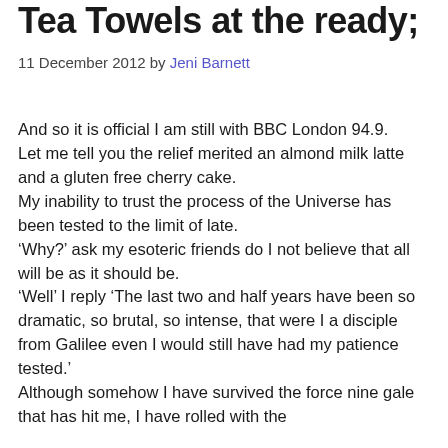Tea Towels at the ready;
11 December 2012 by Jeni Barnett
And so it is official I am still with BBC London 94.9.
Let me tell you the relief merited an almond milk latte and a gluten free cherry cake.
My inability to trust the process of the Universe has been tested to the limit of late.
‘Why?’ ask my esoteric friends do I not believe that all will be as it should be.
‘Well’ I reply ‘The last two and half years have been so dramatic, so brutal, so intense, that were I a disciple from Galilee even I would still have had my patience tested.’
Although somehow I have survived the force nine gale that has hit me, I have rolled with the